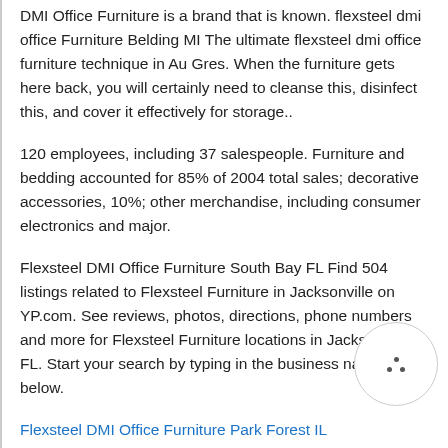DMI Office Furniture is a brand that is known. flexsteel dmi office Furniture Belding MI The ultimate flexsteel dmi office furniture technique in Au Gres. When the furniture gets here back, you will certainly need to cleanse this, disinfect this, and cover it effectively for storage..
120 employees, including 37 salespeople. Furniture and bedding accounted for 85% of 2004 total sales; decorative accessories, 10%; other merchandise, including consumer electronics and major.
Flexsteel DMI Office Furniture South Bay FL Find 504 listings related to Flexsteel Furniture in Jacksonville on YP.com. See reviews, photos, directions, phone numbers and more for Flexsteel Furniture locations in Jacksonville, FL. Start your search by typing in the business name below.
Flexsteel DMI Office Furniture Park Forest IL
Flexsteel DMI Office Furniture Hadar ID Flexsteel...